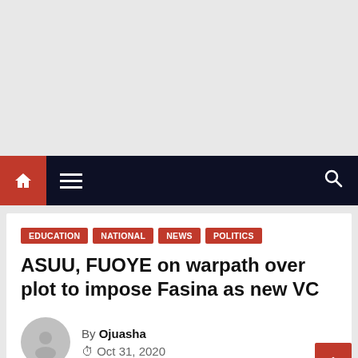[Figure (other): Gray advertisement banner placeholder area at the top of the page]
Navigation bar with home icon, hamburger menu, and search icon
EDUCATION  NATIONAL  NEWS  POLITICS
ASUU, FUOYE on warpath over plot to impose Fasina as new VC
By Ojuasha
Oct 31, 2020